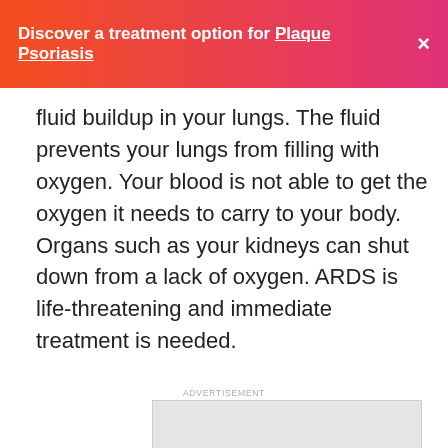Discover a treatment option for Plaque Psoriasis ×
fluid buildup in your lungs. The fluid prevents your lungs from filling with oxygen. Your blood is not able to get the oxygen it needs to carry to your body. Organs such as your kidneys can shut down from a lack of oxygen. ARDS is life-threatening and immediate treatment is needed.
ADVERTISEMENT
[Figure (other): Gray advertisement placeholder box]
ADVERTISEMENT